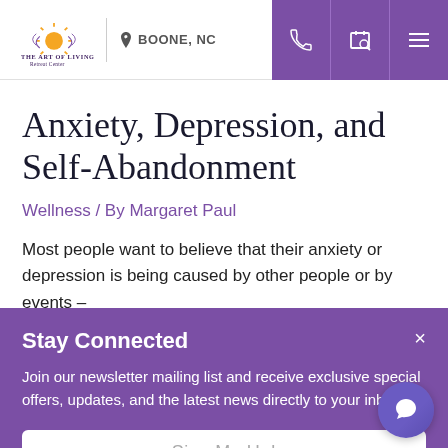THE ART OF LIVING Retreat Center — BOONE, NC
Anxiety, Depression, and Self-Abandonment
Wellness / By Margaret Paul
Most people want to believe that their anxiety or depression is being caused by other people or by events –
Stay Connected
Join our newsletter mailing list and receive exclusive special offers, updates, and the latest news directly to your inbox.
Sign Me Up!